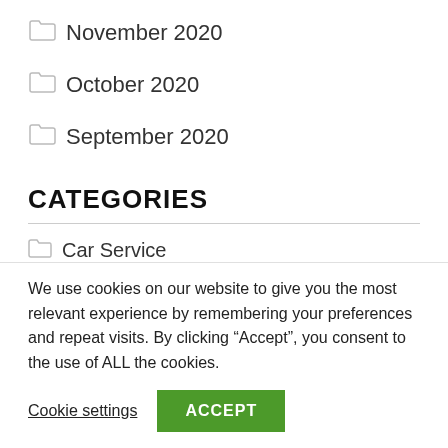November 2020
October 2020
September 2020
CATEGORIES
Car Service
Craft
We use cookies on our website to give you the most relevant experience by remembering your preferences and repeat visits. By clicking “Accept”, you consent to the use of ALL the cookies.
Cookie settings  ACCEPT